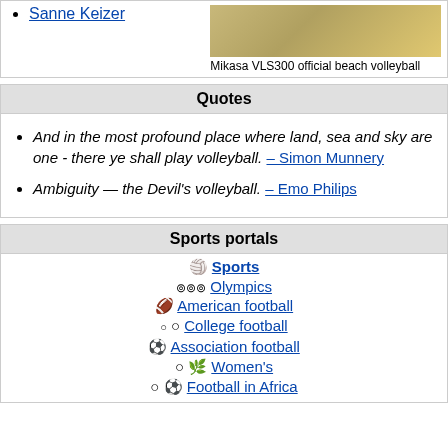Sanne Keizer
Mikasa VLS300 official beach volleyball
Quotes
And in the most profound place where land, sea and sky are one - there ye shall play volleyball. – Simon Munnery
Ambiguity — the Devil's volleyball. – Emo Philips
Sports portals
Sports
Olympics
American football
College football
Association football
Women's
Football in Africa